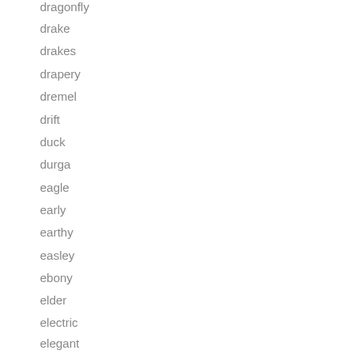dragonfly
drake
drakes
drapery
dremel
drift
duck
durga
eagle
early
earthy
easley
ebony
elder
electric
elegant
elephant